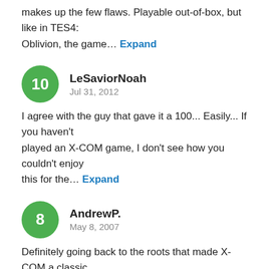makes up the few flaws. Playable out-of-box, but like in TES4: Oblivion, the game… Expand
LeSaviorNoah
Jul 31, 2012
I agree with the guy that gave it a 100... Easily... If you haven't played an X-COM game, I don't see how you couldn't enjoy this for the… Expand
AndrewP.
May 8, 2007
Definitely going back to the roots that made X-COM a classic and is a hell of a lot of fun. It has a few control issues though.
ChrisL.